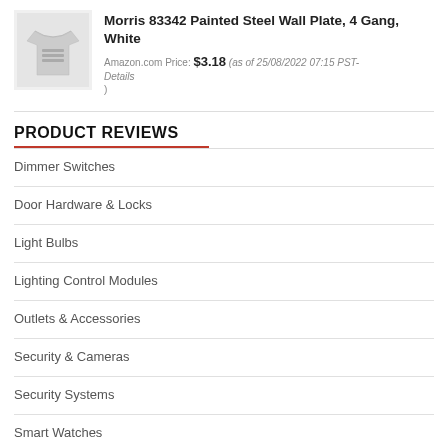[Figure (photo): Product image of a white t-shirt or garment, shown as a small thumbnail]
Morris 83342 Painted Steel Wall Plate, 4 Gang, White
Amazon.com Price: $3.18 (as of 25/08/2022 07:15 PST- Details )
PRODUCT REVIEWS
Dimmer Switches
Door Hardware & Locks
Light Bulbs
Lighting Control Modules
Outlets & Accessories
Security & Cameras
Security Systems
Smart Watches
Thermostats